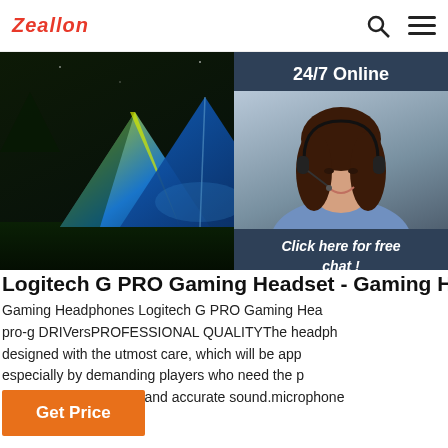Zeallon
[Figure (photo): Hero banner image showing illuminated camping tents (blue, yellow/green) at night on grass, with dark forest background. Overlaid on right: 24/7 Online customer service panel with agent photo, 'Click here for free chat!' text, and orange QUOTATION button.]
Logitech G PRO Gaming Headset - Gaming H
Gaming Headphones Logitech G PRO Gaming Hea pro-g DRIVersPROFESSIONAL QUALITYThe headph designed with the utmost care, which will be app especially by demanding players who need the p quality communication and accurate sound.microphone detachable bra
Get Price